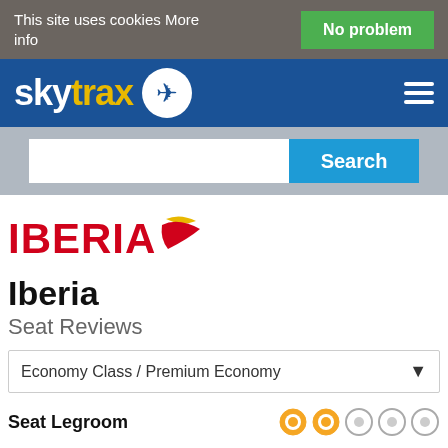This site uses cookies More info
[Figure (logo): Skytrax logo with airplane icon on blue navigation bar]
[Figure (logo): Iberia airline logo with red text and red/yellow swoosh icon]
Iberia
Seat Reviews
Economy Class / Premium Economy
Seat Legroom